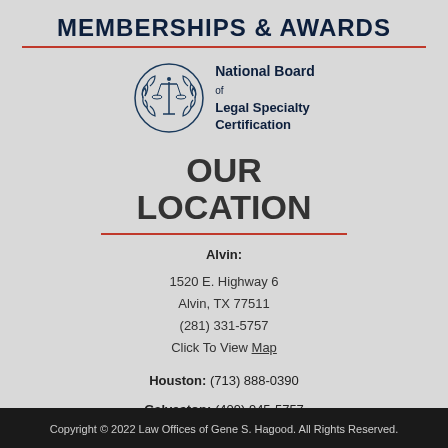MEMBERSHIPS & AWARDS
[Figure (logo): National Board of Legal Specialty Certification logo with scales of justice emblem and laurel wreath]
OUR LOCATION
Alvin:
1520 E. Highway 6
Alvin, TX 77511
(281) 331-5757
Click To View Map
Houston: (713) 888-0390
Galveston: (409) 945-5757
Copyright © 2022 Law Offices of Gene S. Hagood. All Rights Reserved.